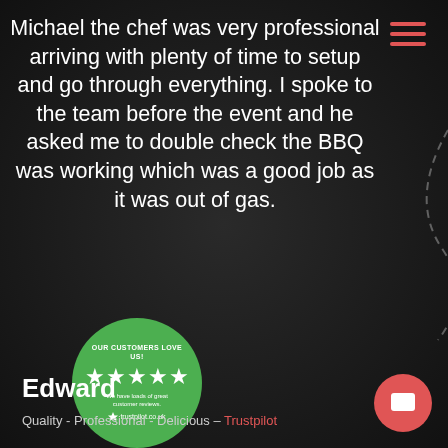[Figure (other): Hamburger menu icon with three horizontal red lines in top right corner]
Michael the chef was very professional arriving with plenty of time to setup and go through everything. I spoke to the team before the event and he asked me to double check the BBQ was working which was a good job as it was out of gas.
[Figure (other): Green circular Trustpilot badge with 5 stars and text 'OUR CUSTOMERS LOVE US! We have loads of great customer reviews. trustpilot.co.uk']
Edward
Quality - Professional - Delicious – Trustpilot
[Figure (other): Red circular chat/message button in bottom right corner]